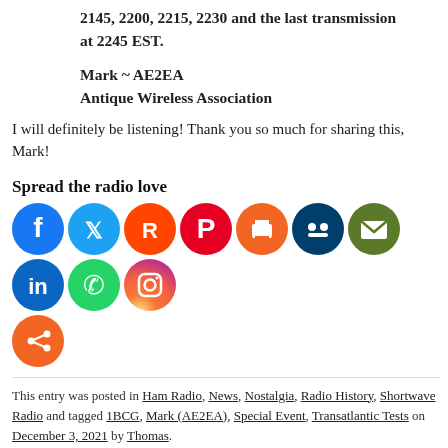2145, 2200, 2215, 2230 and the last transmission at 2245 EST.
Mark ~ AE2EA
Antique Wireless Association
I will definitely be listening! Thank you so much for sharing this, Mark!
Spread the radio love
[Figure (infographic): Social media sharing icons row: Facebook (blue), Twitter (light blue), Reddit (orange), Pinterest (red), Print (orange), MeWe (dark blue), Email (olive/green), LinkedIn (blue), WhatsApp (green), Instagram (gradient purple/orange), and a generic share icon (orange)]
This entry was posted in Ham Radio, News, Nostalgia, Radio History, Shortwave Radio and tagged 1BCG, Mark (AE2EA), Special Event, Transatlantic Tests on December 3, 2021 by Thomas.